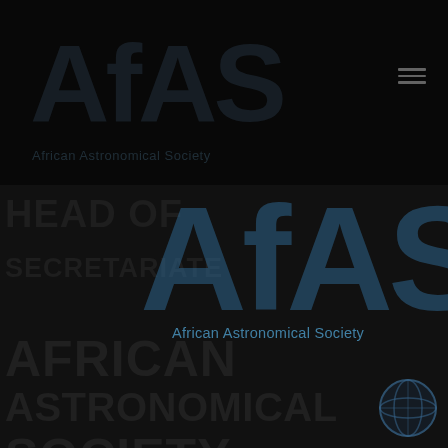[Figure (screenshot): AfAS (African Astronomical Society) website screenshot. Dark background with large ghosted AfAS logo text in top section and navigation menu lines. Bottom section shows large semi-transparent blue AfAS logo overlay, 'African Astronomical Society' subtitle in blue, and large dark bold text reading HEAD OF, SECRETARIATE, AFRICAN, ASTRONOMICAL, SOCIETY in the background with a globe icon in the bottom right.]